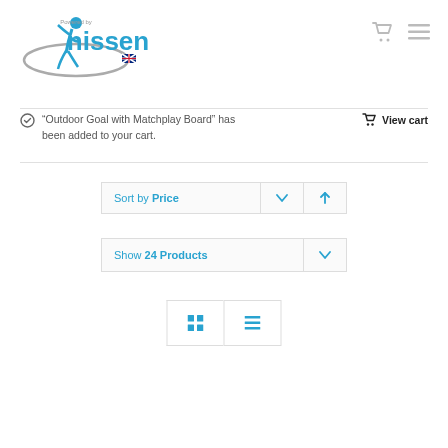[Figure (logo): Nissen UK logo with blue figure and 'powered by nissen' text with UK flag]
"Outdoor Goal with Matchplay Board" has been added to your cart.
View cart
Sort by Price
Show 24 Products